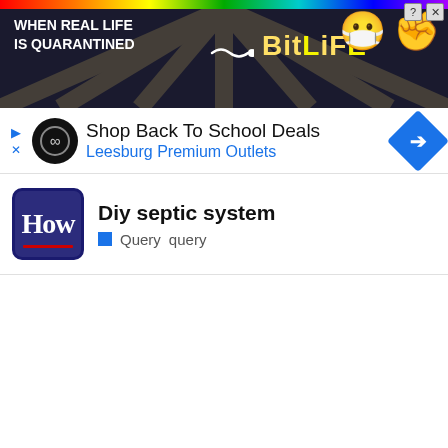[Figure (screenshot): BitLife mobile game advertisement banner with rainbow strip on top, dark background with 'WHEN REAL LIFE IS QUARANTINED' text, BitLife logo with squiggle, masked emoji and fist emoji, help and close buttons]
[Figure (screenshot): Google ad for Shop Back To School Deals at Leesburg Premium Outlets with logo circle, title text, and blue diamond navigation icon]
Diy septic system
Query  query
[Figure (screenshot): Popup ad for Dr. Kellyann weight loss promotion with TV show image and text 'Top Doctor: "Weight Loss..." Dr. Kellyann | Sponsored']
Top Doctor: "Weight Loss..."
Dr. Kellyann | Sponsored